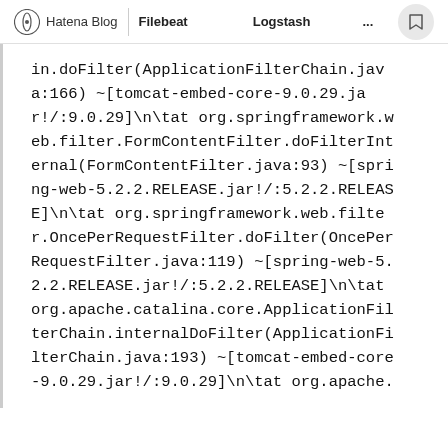Hatena Blog | Filebeat　　　　　　　　Logstash　　　　　...
in.doFilter(ApplicationFilterChain.java:166) ~[tomcat-embed-core-9.0.29.jar!/:9.0.29]\n\tat org.springframework.web.filter.FormContentFilter.doFilterInternal(FormContentFilter.java:93) ~[spring-web-5.2.2.RELEASE.jar!/:5.2.2.RELEASE]\n\tat org.springframework.web.filter.OncePerRequestFilter.doFilter(OncePerRequestFilter.java:119) ~[spring-web-5.2.2.RELEASE.jar!/:5.2.2.RELEASE]\n\tat org.apache.catalina.core.ApplicationFilterChain.internalDoFilter(ApplicationFilterChain.java:193) ~[tomcat-embed-core-9.0.29.jar!/:9.0.29]\n\tat org.apache.